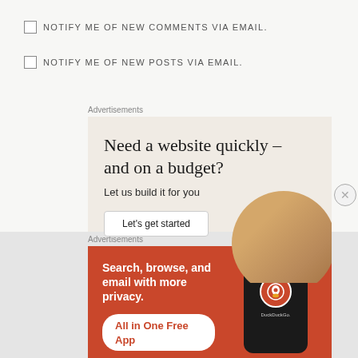NOTIFY ME OF NEW COMMENTS VIA EMAIL.
NOTIFY ME OF NEW POSTS VIA EMAIL.
Advertisements
[Figure (infographic): Website builder advertisement: 'Need a website quickly – and on a budget? Let us build it for you' with a 'Let's get started' button and a circular photo of a person on a warm background.]
Advertisements
[Figure (infographic): DuckDuckGo advertisement on red/orange background: 'Search, browse, and email with more privacy. All in One Free App' with a phone mockup showing the DuckDuckGo logo.]